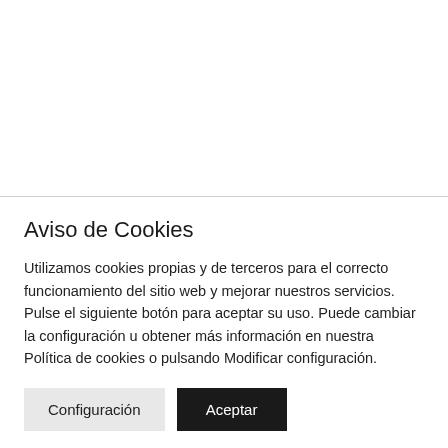Aviso de Cookies
Utilizamos cookies propias y de terceros para el correcto funcionamiento del sitio web y mejorar nuestros servicios. Pulse el siguiente botón para aceptar su uso. Puede cambiar la configuración u obtener más información en nuestra Política de cookies o pulsando Modificar configuración.
Configuración | Aceptar